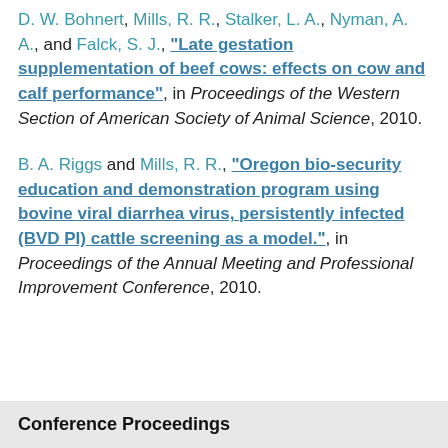D. W. Bohnert, Mills, R. R., Stalker, L. A., Nyman, A. A., and Falck, S. J., "Late gestation supplementation of beef cows: effects on cow and calf performance", in Proceedings of the Western Section of American Society of Animal Science, 2010.
B. A. Riggs and Mills, R. R., "Oregon bio-security education and demonstration program using bovine viral diarrhea virus, persistently infected (BVD PI) cattle screening as a model.", in Proceedings of the Annual Meeting and Professional Improvement Conference, 2010.
Conference Proceedings